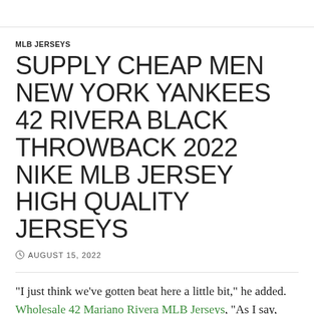MLB JERSEYS
SUPPLY CHEAP MEN NEW YORK YANKEES 42 RIVERA BLACK THROWBACK 2022 NIKE MLB JERSEY HIGH QUALITY JERSEYS
AUGUST 15, 2022
"I just think we've gotten beat here a little bit," he added. Wholesale 42 Mariano Rivera MLB Jerseys, "As I say, even when things are going really well, you never take for granted winning games. Wholesale New York Yankees MLB Jerseys